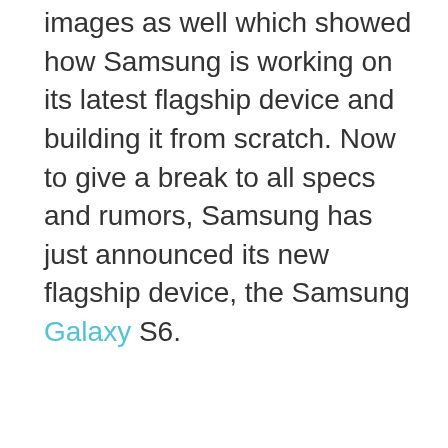images as well which showed how Samsung is working on its latest flagship device and building it from scratch. Now to give a break to all specs and rumors, Samsung has just announced its new flagship device, the Samsung Galaxy S6.